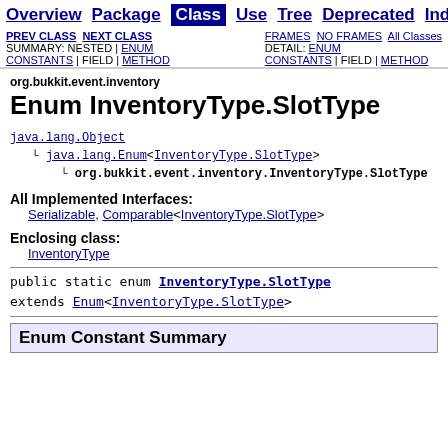Overview | Package | Class | Use | Tree | Deprecated | Index | H
PREV CLASS | NEXT CLASS | FRAMES | NO FRAMES | All Classes
SUMMARY: NESTED | ENUM CONSTANTS | FIELD | METHOD | DETAIL: ENUM CONSTANTS | FIELD | METHOD
org.bukkit.event.inventory
Enum InventoryType.SlotType
java.lang.Object
  └ java.lang.Enum<InventoryType.SlotType>
      └ org.bukkit.event.inventory.InventoryType.SlotType
All Implemented Interfaces:
    Serializable, Comparable<InventoryType.SlotType>
Enclosing class:
    InventoryType
public static enum InventoryType.SlotType
extends Enum<InventoryType.SlotType>
Enum Constant Summary